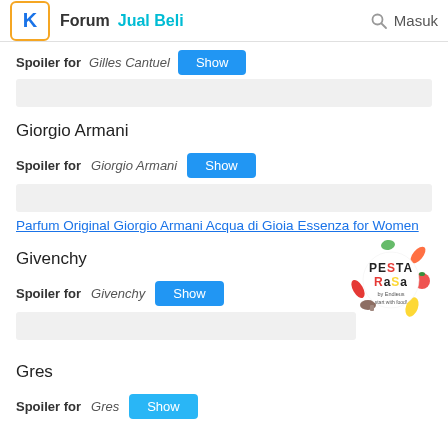Forum  Jual Beli  Masuk
Spoiler for Gilles Cantuel  Show
Giorgio Armani
Spoiler for Giorgio Armani  Show
Parfum Original Giorgio Armani Acqua di Gioia Essenza for Women
Givenchy
[Figure (logo): Pesta Rasa by Endieus - start with food! circular logo]
Spoiler for Givenchy  Show
Gres
Spoiler for Gres  Show